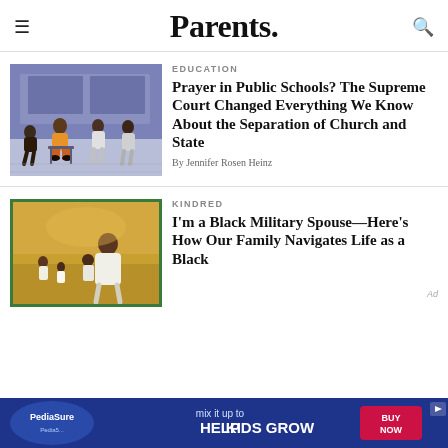Parents.
EDUCATION
Prayer in Public Schools? The Supreme Court Changed Everything We Know About the Separation of Church and State
By Jennifer Rosen Heinz
[Figure (illustration): Illustration of students sitting on chairs, possibly in a school bus or waiting area, with a blue-purple background]
KINDRED
I'm a Black Military Spouse—Here's How Our Family Navigates Life as a Black
[Figure (photo): Photo of a Black family walking together in a golden field, with children and an adult in white clothing]
[Figure (other): PediaSure advertisement banner: mix it up to HELP KIDS GROW, BUY NOW]